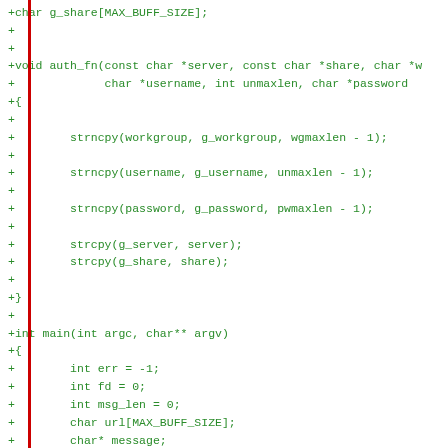[Figure (screenshot): Code diff showing a C source file with added lines (prefixed with +) in green monospace font on white background, with a red vertical bar on the left margin. The code defines a char array g_share, a void auth_fn function with strncpy and strcpy calls, and an int main function with variable declarations and bzero/if statements.]